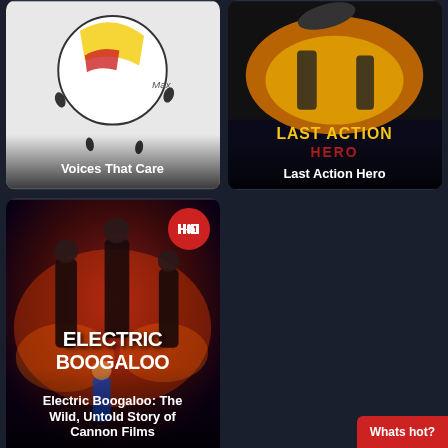[Figure (screenshot): Movie thumbnail: Voices That Care - cartoon/illustration style art with white background]
Voices That Care
[Figure (screenshot): Movie thumbnail: Last Action Hero - colorful action movie poster art]
Last Action Hero
[Figure (screenshot): Movie thumbnail: Electric Boogaloo: The Wild, Untold Story of Cannon Films - action movie poster with HD badge]
Electric Boogaloo: The Wild, Untold Story of Cannon Films